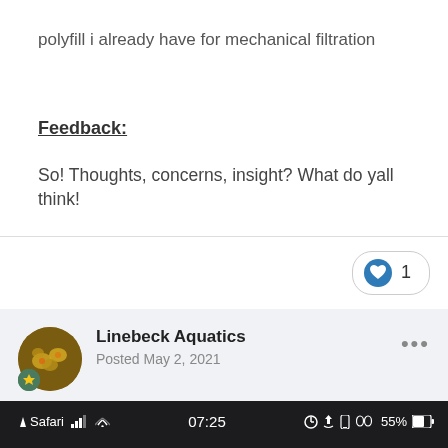polyfill i already have for mechanical filtration
Feedback:
So! Thoughts, concerns, insight? What do yall think!
Linebeck Aquatics
Posted May 2, 2021
[Figure (screenshot): iOS status bar showing Safari, signal bars, WiFi, time 07:25, battery 55%, and navigation bar with aquarium-talk channel]
≡  #  aquarium-talk